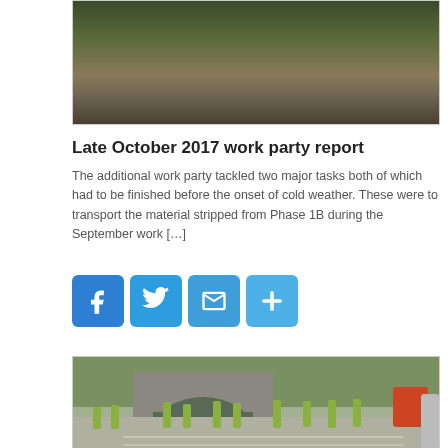[Figure (photo): Partial view of a ground/soil surface, likely a canal bank or earthwork site, cropped at top]
Late October 2017 work party report
The additional work party tackled two major tasks both of which had to be finished before the onset of cold weather. These were to transport the material stripped from Phase 1B during the September work […]
[Figure (other): Social sharing buttons: Facebook, Twitter, Email, Share/Plus]
[Figure (photo): Workers in high-visibility jackets working on a canal restoration project near a stone bridge/tunnel arch]